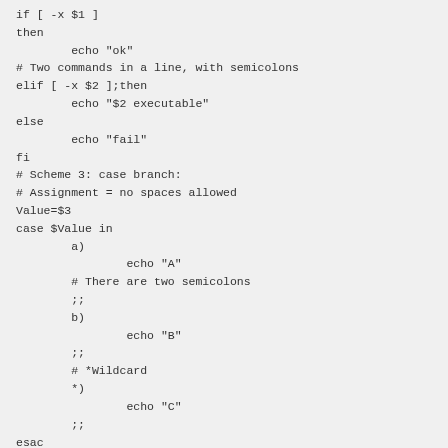if [ -x $1 ]
then
        echo "ok"
# Two commands in a line, with semicolons
elif [ -x $2 ];then
        echo "$2 executable"
else
        echo "fail"
fi
# Scheme 3: case branch:
# Assignment = no spaces allowed
Value=$3
case $Value in
        a)
                echo "A"
        # There are two semicolons
        ;;
        b)
                echo "B"
        ;;
        # *Wildcard
        *)
                echo "C"
        ;;
esac
17.4 description of cycle structure